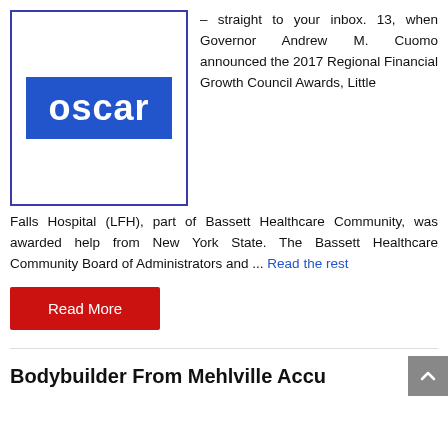[Figure (logo): Oscar health insurance logo — white text 'oscar' on blue rectangle background, inside a blue-bordered box]
– straight to your inbox. 13, when Governor Andrew M. Cuomo announced the 2017 Regional Financial Growth Council Awards, Little Falls Hospital (LFH), part of Bassett Healthcare Community, was awarded help from New York State. The Bassett Healthcare Community Board of Administrators and ... Read the rest
Read More
Bodybuilder From Mehlville Accu...